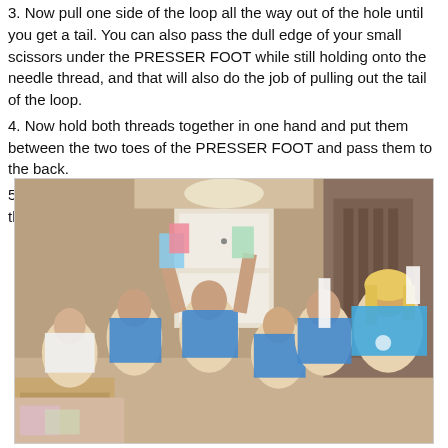3. Now pull one side of the loop all the way out of the hole until you get a tail. You can also pass the dull edge of your small scissors under the PRESSER FOOT while still holding onto the needle thread, and that will also do the job of pulling out the tail of the loop.
4. Now hold both threads together in one hand and put them between the two toes of the PRESSER FOOT and pass them to the back.
5. Put your fabric under the PRESSER FOOT just like you did the lined paper. Lower the PRESSER FOOT and sew.
[Figure (photo): Group of young girls in blue shirts holding up their sewing projects, smiling in a home setting with a staircase and cabinets in the background.]